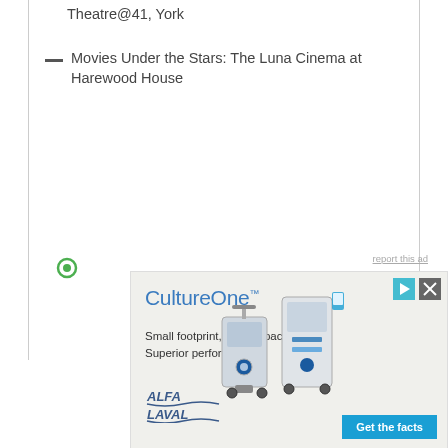Theatre@41, York
Movies Under the Stars: The Luna Cinema at Harewood House
[Figure (other): Advertisement for CultureOne by Alfa Laval. Shows medical/laboratory equipment. Tagline: Small footprint, High capacity Superior performance. CTA button: Get the facts.]